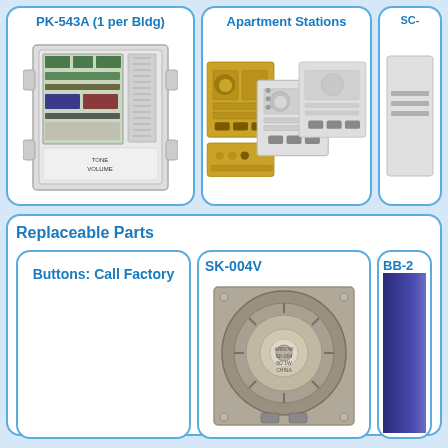PK-543A (1 per Bldg)
[Figure (photo): PK-543A intercom master unit device photo showing circuit board and terminal connections]
Apartment Stations
[Figure (photo): Multiple apartment intercom stations in gold and silver/white finish with speaker grilles and buttons]
SC-
[Figure (photo): Partial view of SC- series device]
Replaceable Parts
Buttons: Call Factory
SK-004V
[Figure (photo): SK-004V replacement speaker unit shown from the back, circular speaker with metal frame]
BB-2
[Figure (photo): BB-2 partial product image with blue/dark coloring]